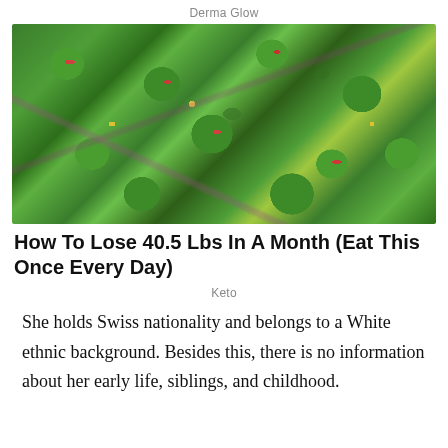Derma Glow
[Figure (photo): Close-up photo of a cucumber salad with sliced cucumbers, red chili peppers, red onion, corn, nuts, and fresh herbs in a white bowl]
How To Lose 40.5 Lbs In A Month (Eat This Once Every Day)
Keto
She holds Swiss nationality and belongs to a White ethnic background. Besides this, there is no information about her early life, siblings, and childhood.